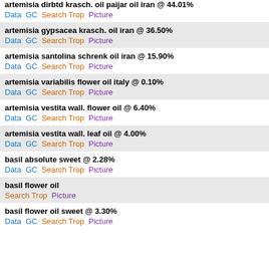artemisia dirbtd krasch. oil paijar oil iran @ 44.01%
Data  GC  Search Trop  Picture
artemisia gypsacea krasch. oil iran @ 36.50%
Data  GC  Search Trop  Picture
artemisia santolina schrenk oil iran @ 15.90%
Data  GC  Search Trop  Picture
artemisia variabilis flower oil italy @ 0.10%
Data  GC  Search Trop  Picture
artemisia vestita wall. flower oil @ 6.40%
Data  GC  Search Trop  Picture
artemisia vestita wall. leaf oil @ 4.00%
Data  GC  Search Trop  Picture
basil absolute sweet @ 2.28%
Data  GC  Search Trop  Picture
basil flower oil
Search Trop  Picture
basil flower oil sweet @ 3.30%
Data  GC  Search Trop  Picture